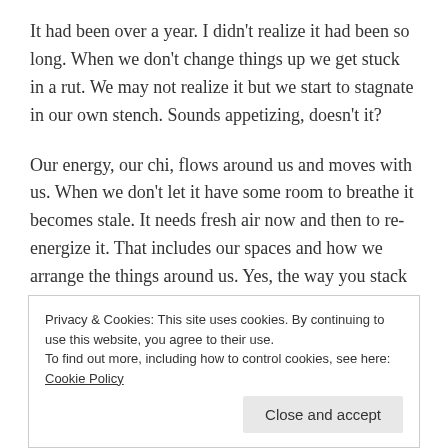It had been over a year. I didn't realize it had been so long. When we don't change things up we get stuck in a rut. We may not realize it but we start to stagnate in our own stench. Sounds appetizing, doesn't it?
Our energy, our chi, flows around us and moves with us. When we don't let it have some room to breathe it becomes stale. It needs fresh air now and then to re-energize it. That includes our spaces and how we arrange the things around us. Yes, the way you stack the magazines on the coffee table can actually be important. Did you know that the principles of feng shui say not to
Privacy & Cookies: This site uses cookies. By continuing to use this website, you agree to their use.
To find out more, including how to control cookies, see here: Cookie Policy